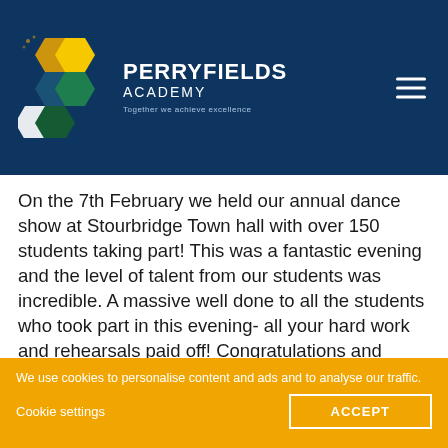[Figure (logo): Perryfields Academy logo with hexagon shapes in orange, yellow, blue, green and white, alongside text 'PERRYFIELDS ACADEMY - Together we achieve excellence']
On the 7th February we held our annual dance show at Stourbridge Town hall with over 150 students taking part! This was a fantastic evening and the level of talent from our students was incredible. A massive well done to all the students who took part in this evening- all your hard work and rehearsals paid off! Congratulations and farewell to the Year 11 students on this, on their last dance show at...
We use cookies to personalise content and ads and to analyse our traffic.
Cookie settings
ACCEPT